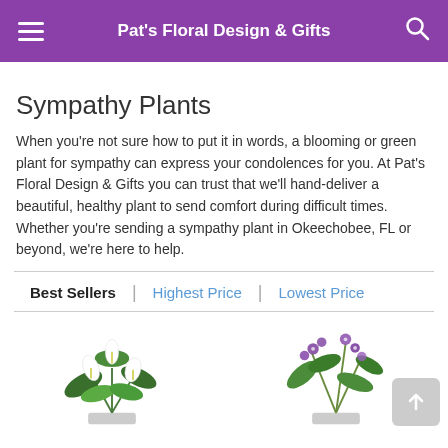Pat's Floral Design & Gifts
Sympathy Plants
When you're not sure how to put it in words, a blooming or green plant for sympathy can express your condolences for you. At Pat's Floral Design & Gifts you can trust that we'll hand-deliver a beautiful, healthy plant to send comfort during difficult times. Whether you're sending a sympathy plant in Okeechobee, FL or beyond, we're here to help.
Best Sellers | Highest Price | Lowest Price
[Figure (photo): Photo of a white peace lily plant with green leaves]
[Figure (photo): Photo of a green plant with purple orchid flowers]